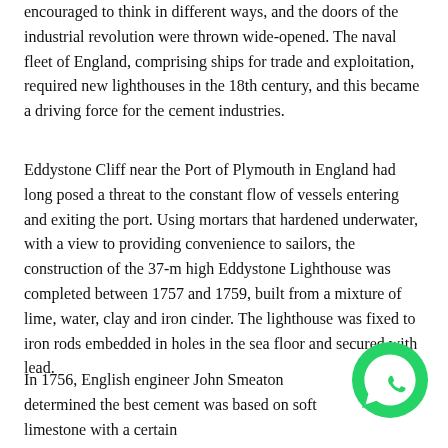encouraged to think in different ways, and the doors of the industrial revolution were thrown wide-opened. The naval fleet of England, comprising ships for trade and exploitation, required new lighthouses in the 18th century, and this became a driving force for the cement industries.
Eddystone Cliff near the Port of Plymouth in England had long posed a threat to the constant flow of vessels entering and exiting the port. Using mortars that hardened underwater, with a view to providing convenience to sailors, the construction of the 37-m high Eddystone Lighthouse was completed between 1757 and 1759, built from a mixture of lime, water, clay and iron cinder. The lighthouse was fixed to iron rods embedded in holes in the sea floor and secured with lead.
In 1756, English engineer John Smeaton determined the best cement was based on soft limestone with a certain
[Figure (logo): WhatsApp logo: green circle with white telephone handset icon]